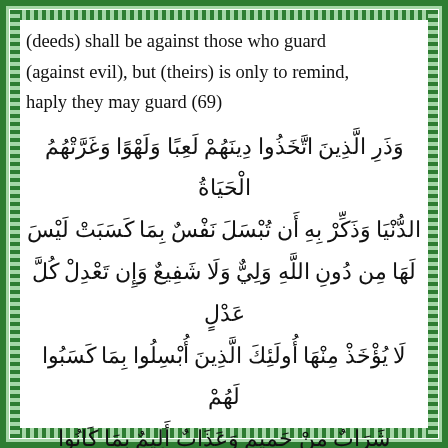(deeds) shall be against those who guard (against evil), but (theirs) is only to remind, haply they may guard (69)
وَذَرِ الَّذِينَ اتَّخَذُوا دِينَهُمْ لَعِبًا وَلَهْوًا وَغَرَّتْهُمُ الْحَيَاةُ الدُّنْيَا وَذَكِّرْ بِهِ أَن تُبْسَلَ نَفْسٌ بِمَا كَسَبَتْ لَيْسَ لَهَا مِن دُونِ اللَّهِ وَلِيٌّ وَلَا شَفِيعٌ وَإِن تَعْدِلْ كُلَّ عَدْلٍ لَّا يُؤْخَذْ مِنْهَا أُولَئِكَ الَّذِينَ أُبْسِلُوا بِمَا كَسَبُوا لَهُمْ شَرَابٌ مِّنْ حَمِيمٍ وَعَذَابٌ أَلِيمٌ بِمَا كَانُوا يَكْفُرُونَ
٧٠